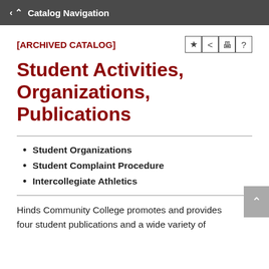Catalog Navigation
[ARCHIVED CATALOG]
Student Activities, Organizations, Publications
Student Organizations
Student Complaint Procedure
Intercollegiate Athletics
Hinds Community College promotes and provides four student publications and a wide variety of